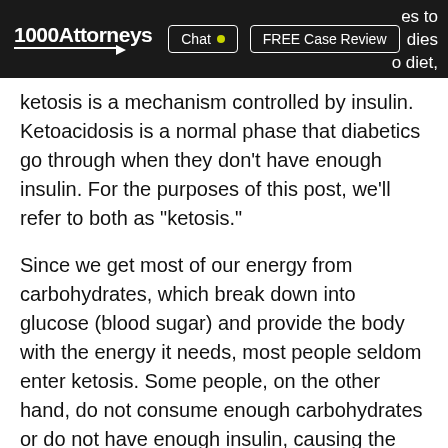1000Attorneys | Chat | FREE Case Review
...es to ...dies ...o diet, ketosis is a mechanism controlled by insulin. Ketoacidosis is a normal phase that diabetics go through when they don't have enough insulin. For the purposes of this post, we'll refer to both as "ketosis."
Since we get most of our energy from carbohydrates, which break down into glucose (blood sugar) and provide the body with the energy it needs, most people seldom enter ketosis. Some people, on the other hand, do not consume enough carbohydrates or do not have enough insulin, causing the body to turn to fat as a fuel source